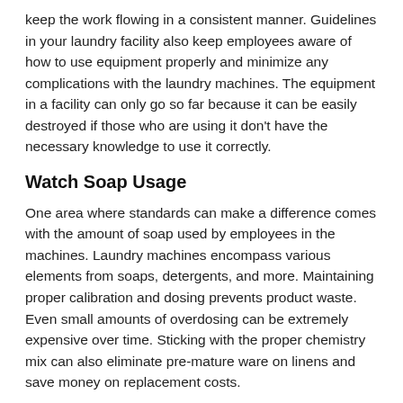keep the work flowing in a consistent manner. Guidelines in your laundry facility also keep employees aware of how to use equipment properly and minimize any complications with the laundry machines. The equipment in a facility can only go so far because it can be easily destroyed if those who are using it don't have the necessary knowledge to use it correctly.
Watch Soap Usage
One area where standards can make a difference comes with the amount of soap used by employees in the machines. Laundry machines encompass various elements from soaps, detergents, and more. Maintaining proper calibration and dosing prevents product waste. Even small amounts of overdosing can be extremely expensive over time. Sticking with the proper chemistry mix can also eliminate pre-mature ware on linens and save money on replacement costs.
Keep Up With Maintenance
Like any piece of machinery, you should also keep up with maintenance to ensure the laundry equipment is running at a high level. Some important pieces of maintenance to keep u